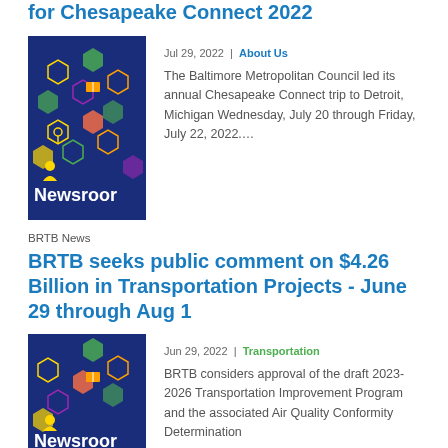for Chesapeake Connect 2022
[Figure (photo): Newsroom graphic with dark blue background and colorful hexagon icons]
Jul 29, 2022 | About Us
The Baltimore Metropolitan Council led its annual Chesapeake Connect trip to Detroit, Michigan Wednesday, July 20 through Friday, July 22, 2022….
BRTB News
BRTB seeks public comment on $4.26 Billion in Transportation Projects - June 29 through Aug 1
[Figure (photo): Newsroom graphic with dark blue background and colorful hexagon icons]
Jun 29, 2022 | Transportation
BRTB considers approval of the draft 2023-2026 Transportation Improvement Program and the associated Air Quality Conformity Determination